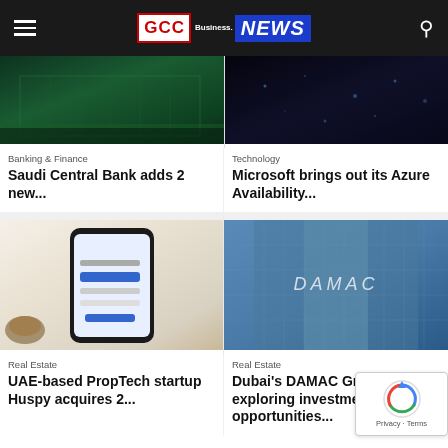GCC Business NEWS
[Figure (photo): Building exterior with green-tinted glass facade at night]
Banking & Finance
Saudi Central Bank adds 2 new...
[Figure (photo): Dark abstract technology background]
Technology
Microsoft brings out its Azure Availability...
[Figure (photo): Smartphone with app interface on desk with coffee cup]
Real Estate
UAE-based PropTech startup Huspy acquires 2...
[Figure (photo): DAMAC Group building with silver DAMAC lettering on glass facade]
Real Estate
Dubai's DAMAC Group exploring investment opportunities...